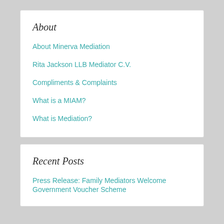About
About Minerva Mediation
Rita Jackson LLB Mediator C.V.
Compliments & Complaints
What is a MIAM?
What is Mediation?
Recent Posts
Press Release: Family Mediators Welcome Government Voucher Scheme